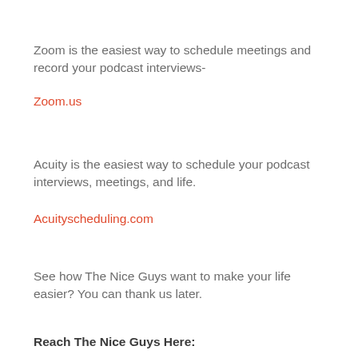Zoom is the easiest way to schedule meetings and record your podcast interviews-
Zoom.us
Acuity is the easiest way to schedule your podcast interviews, meetings, and life.
Acuityscheduling.com
See how The Nice Guys want to make your life easier? You can thank us later.
Reach The Nice Guys Here: